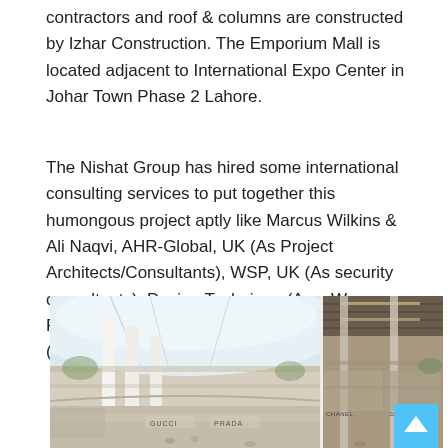contractors and roof & columns are constructed by Izhar Construction. The Emporium Mall is located adjacent to International Expo Center in Johar Town Phase 2 Lahore.
The Nishat Group has hired some international consulting services to put together this humongous project aptly like Marcus Wilkins & Ali Naqvi, AHR-Global, UK (As Project Architects/Consultants), WSP, UK (As security consultants), Design Technique (As a Way Finding consultants, UK) and lastly Electrolyte (As lighting consultants, UK).
[Figure (photo): Interior rendering of Emporium Mall showing a modern shopping mall atrium with high ceilings, white columns, curved walkways, luxury brand stores including Gucci and Prada on the ground floor, and multiple levels visible. The image shows two side-by-side interior views of the mall.]